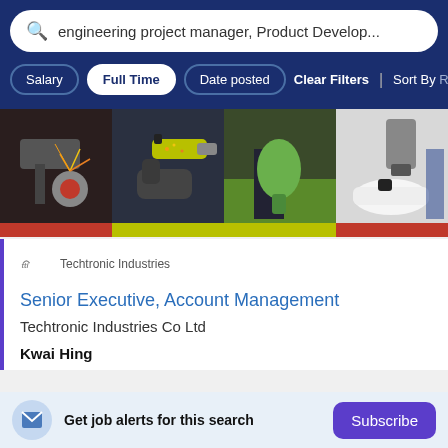engineering project manager, Product Develop...
Salary
Full Time
Date posted
Clear Filters
Sort By Rele
[Figure (photo): Four photos in a horizontal strip showing power tools and industrial equipment. From left to right: 1) angle grinder sparks on metal, 2) person using power drill with gloves, 3) person using green handheld tool on grass, 4) white robotic vacuum/device with charger.]
Techtronic Industries
Senior Executive, Account Management
Techtronic Industries Co Ltd
Kwai Hing
Get job alerts for this search
Subscribe